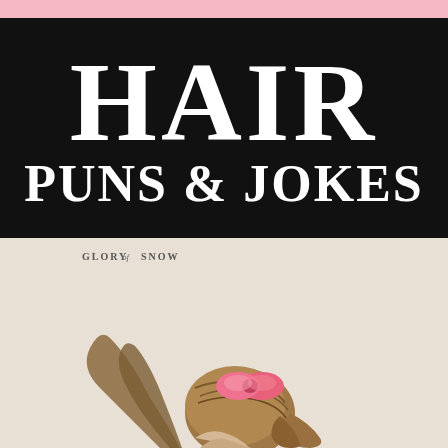HAIR PUNS & JOKES
[Figure (photo): Woman with brown hair in ponytail with pink bow/scrunchie, seen from behind/side, against beige background. Logo 'GLORY of SNOW' overlaid at top left of photo.]